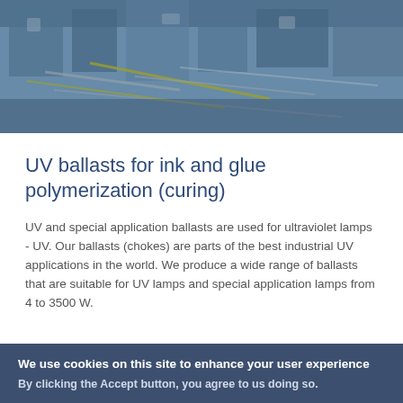[Figure (photo): Industrial UV equipment/machinery with cables and electronic components, blue-tinted banner image]
UV ballasts for ink and glue polymerization (curing)
UV and special application ballasts are used for ultraviolet lamps - UV. Our ballasts (chokes) are parts of the best industrial UV applications in the world. We produce a wide range of ballasts that are suitable for UV lamps and special application lamps from 4 to 3500 W.
We use cookies on this site to enhance your user experience
By clicking the Accept button, you agree to us doing so.